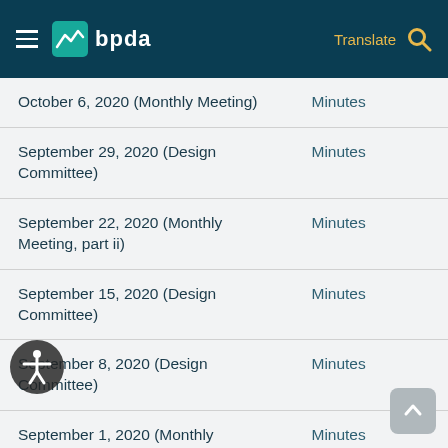bpda — Translate
| Date/Meeting | Document Type |
| --- | --- |
| October 6, 2020 (Monthly Meeting) | Minutes |
| September 29, 2020 (Design Committee) | Minutes |
| September 22, 2020 (Monthly Meeting, part ii) | Minutes |
| September 15, 2020 (Design Committee) | Minutes |
| September 8, 2020 (Design Committee) | Minutes |
| September 1, 2020 (Monthly Meeting) | Minutes |
| August 18, 2020 (Design Committee) | Minutes |